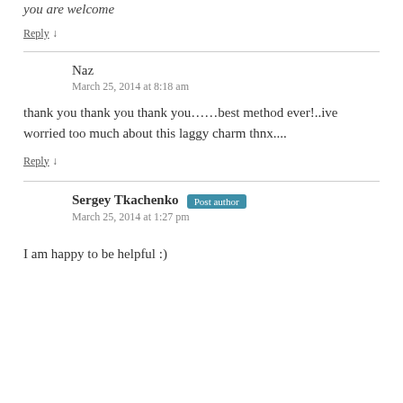you are welcome
Reply ↓
Naz
March 25, 2014 at 8:18 am
thank you thank you thank you……best method ever!..ive worried too much about this laggy charm thnx....
Reply ↓
Sergey Tkachenko Post author
March 25, 2014 at 1:27 pm
I am happy to be helpful :)